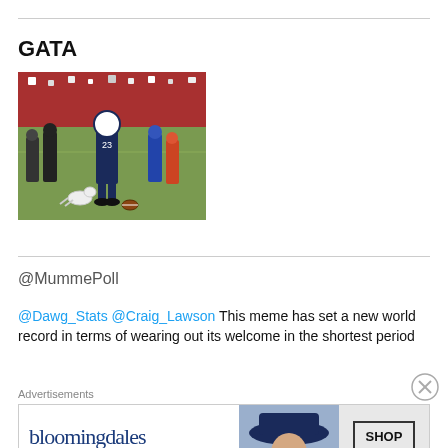GATA
[Figure (photo): Football player in navy/white uniform (#23) on field with dog and other people, game crowd in background]
@MummePoll
@Dawg_Stats @Craig_Lawson This meme has set a new world record in terms of wearing out its welcome in the shortest period
Advertisements
[Figure (screenshot): Bloomingdales advertisement: 'View Today's Top Deals!' with SHOP NOW > button and woman in blue hat]